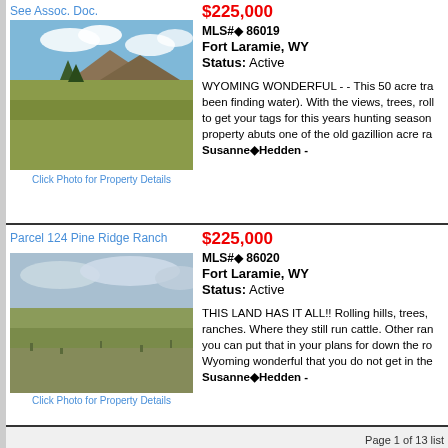See Assoc. Doc.
[Figure (photo): Photo of Wyoming land parcel with rocky outcrop and grassy hillside under blue sky]
Click Photo for Property Details
$225,000
MLS#◆ 86019
Fort Laramie, WY
Status: Active
WYOMING WONDERFUL - - This 50 acre tra been finding water). With the views, trees, roll to get your tags for this years hunting season property abuts one of the old gazillion acre ra Susanne◆Hedden -
Parcel 124 Pine Ridge Ranch
[Figure (photo): Photo of flat Wyoming grassland parcel under overcast sky]
Click Photo for Property Details
$225,000
MLS#◆ 86020
Fort Laramie, WY
Status: Active
THIS LAND HAS IT ALL!! Rolling hills, trees, ranches. Where they still run cattle. Other ran you can put that in your plans for down the ro Wyoming wonderful that you do not get in the Susanne◆Hedden -
Page 1 of 13 list